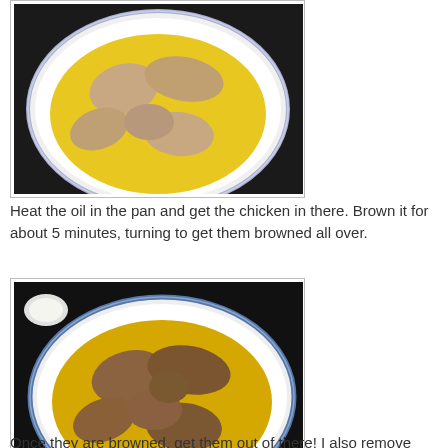[Figure (photo): Chicken pieces in a white pan with yellow oil/butter, uncooked/lightly browned, viewed from above]
Heat the oil in the pan and get the chicken in there. Brown it for about 5 minutes, turning to get them browned all over.
[Figure (photo): Chicken pieces in a white pan with yellow oil/butter, browned on both sides, viewed from above]
Once they are browned, get them out of there! I also remove